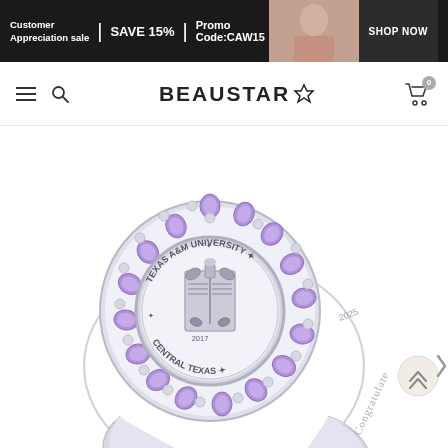[Figure (screenshot): E-commerce website banner: Customer Appreciation sale | SAVE 15% | Promo Code:CAW15 | SHOP NOW, with a photo of a person in pink background on the right]
[Figure (screenshot): Website navigation bar with hamburger menu, search icon, BEAUSTAR logo with diamond icon, and shopping cart with 0 items badge]
[Figure (photo): Silver ring with Texas A&M University Central Texas seal in center, surrounded by purple/lavender gemstones in a sunburst halo setting. Ring band engraved with 'Congratulate' text.]